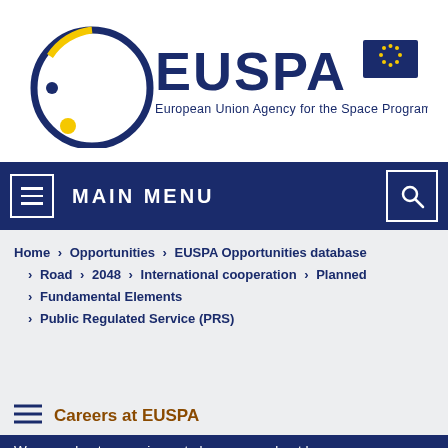[Figure (logo): EUSPA logo — circular blue/yellow arc emblem with 'EUSPA' text and 'European Union Agency for the Space Programme' tagline, plus EU flag]
MAIN MENU
Home > Opportunities > EUSPA Opportunities database > Road > 2048 > International cooperation > Planned > Fundamental Elements > Public Regulated Service (PRS)
Careers at EUSPA
We care about your privacy, to learn more about how you can manage your